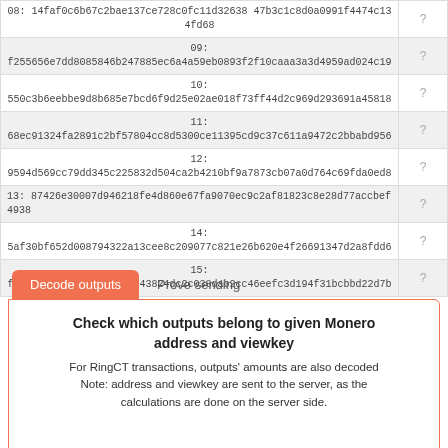| Output | ? |
| --- | --- |
| 08: 14faf0c6b67c2bae137ce728c0fc11d32638 47b3c1c8d0a0991f4474c134fd68 | ? |
| 09:
f255656e7dd8085846b247885ec6a4a59eb0893f2f10caaa3a3d4959ad024c19 | ? |
| 10:
550c3b6eebbe9d8b685e7bcd6f9d25e02ae018f73ff44d2c969d293691a45818 | ? |
| 11:
68ec91324fa2891c2bf57804cc8d5300ce11395cd9c37c611a9472c2bbabd956 | ? |
| 12:
9594d569cc79dd345c225832d504ca2b4210bf9a7873cb07a0d764c69fda0ed8 | ? |
| 13: 87426e30007d946218fe4d860e67fa9070ec9c2af81823c8e28d77accbef4938 | ? |
| 14:
5af30bf652d008794322a13cee8c209077c821e26b620e4f26691347d2a8fdd6 | ? |
| 15:
f42252b20849d5b6ca9bd943824dc2c038dab2cc46eefc3d194f31bcbbd22d7b | ? |
Decode outputs
Prove sending
Check which outputs belong to given Monero address and viewkey
For RingCT transactions, outputs' amounts are also decoded
Note: address and viewkey are sent to the server, as the
calculations are done on the server side.